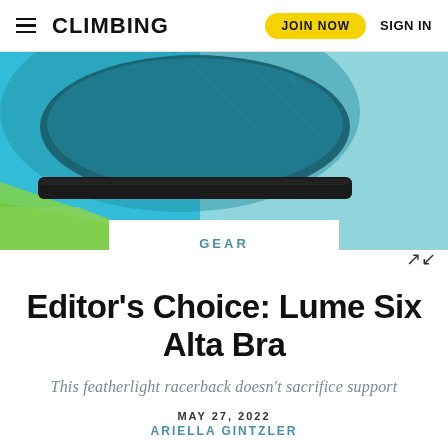CLIMBING | JOIN NOW | SIGN IN
[Figure (photo): Close-up product photo of a teal/dark blue sports bra with black band against a colorful teal, green, and blue textured background]
GEAR
Editor’s Choice: Lume Six Alta Bra
This featherlight racerback doesn’t sacrifice support
MAY 27, 2022
ARIELLA GINTZLER